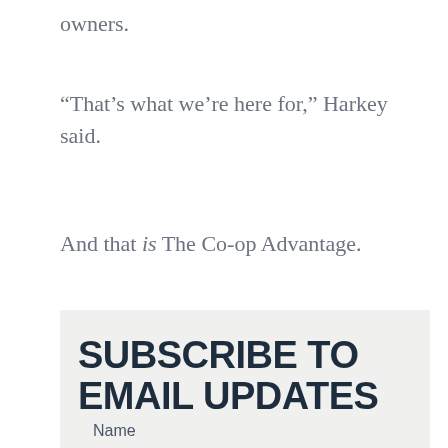owners.
“That’s what we’re here for,” Harkey said.
And that is The Co-op Advantage.
SUBSCRIBE TO EMAIL UPDATES
Name